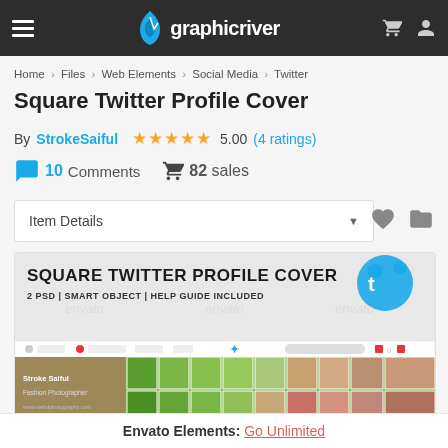graphicriver
Home > Files > Web Elements > Social Media > Twitter
Square Twitter Profile Cover
By StrokeSaiful ★★★★★ 5.00 (4 ratings)
💬 10 Comments 🛒 82 sales
Item Details ▼
[Figure (screenshot): Preview image of the Square Twitter Profile Cover product showing a Twitter profile page mockup with a fashion photographer profile and a tiled green leaf/face photo collage background. Text reads: SQUARE TWITTER PROFILE COVER, 2 PSD | SMART OBJECT | HELP GUIDE INCLUDED]
Envato Elements: Go Unlimited